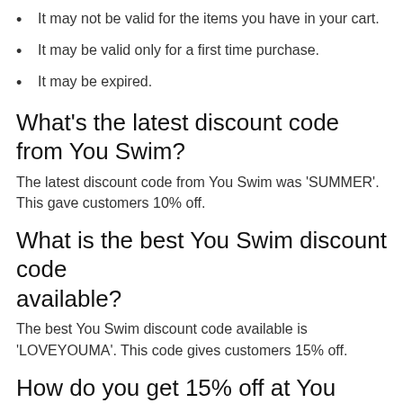It may not be valid for the items you have in your cart.
It may be valid only for a first time purchase.
It may be expired.
What's the latest discount code from You Swim?
The latest discount code from You Swim was 'SUMMER'. This gave customers 10% off.
What is the best You Swim discount code available?
The best You Swim discount code available is 'LOVEYOUMA'. This code gives customers 15% off.
How do you get 15% off at You Swim?
We have a coupon code for 15% off at You Swim. To apply the discount, click the 'copy code' button next to the code on this page, and paste it into the 'coupon code' box at the